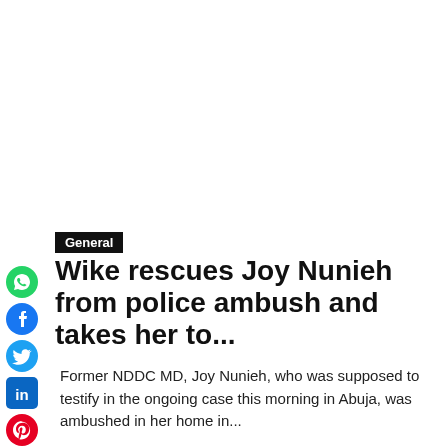[Figure (other): Social media share icons: WhatsApp (green), Facebook (blue), Twitter (blue bird), LinkedIn (blue), Pinterest (red), Reddit (orange), Email (red envelope), Print (blue printer) arranged vertically on the left side]
General
Wike rescues Joy Nunieh from police ambush and takes her to...
Former NDDC MD, Joy Nunieh, who was supposed to testify in the ongoing case this morning in Abuja, was ambushed in her home in...